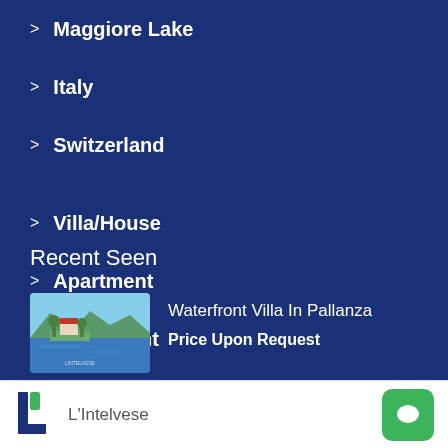Maggiore Lake
Italy
Switzerland
Villa/House
Apartment
Investment
Recent Seen
Waterfront Villa In Pallanza
Price Upon Request
[Figure (photo): Aerial/landscape photo of waterfront villa in Pallanza near a lake]
L'Intelvese